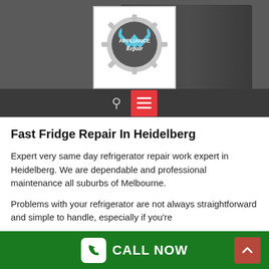[Figure (logo): Appliance Repair logo with wrench icons and gear, white background]
Fast Fridge Repair In Heidelberg
Expert very same day refrigerator repair work expert in Heidelberg. We are dependable and professional maintenance all suburbs of Melbourne.
Problems with your refrigerator are not always straightforward and simple to handle, especially if you're